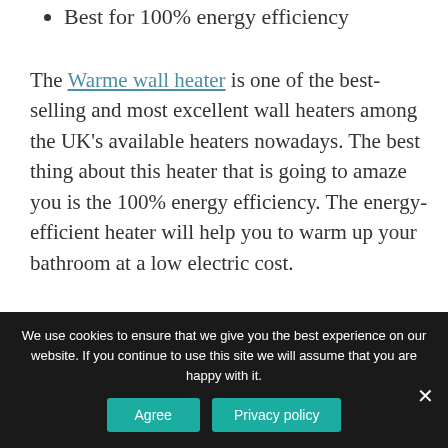Best for 100% energy efficiency
The Warme wall heater is one of the best-selling and most excellent wall heaters among the UK's available heaters nowadays. The best thing about this heater that is going to amaze you is the 100% energy efficiency. The energy-efficient heater will help you to warm up your bathroom at a low electric cost.
You don't have to count a hefty electricity bill at the
We use cookies to ensure that we give you the best experience on our website. If you continue to use this site we will assume that you are happy with it.